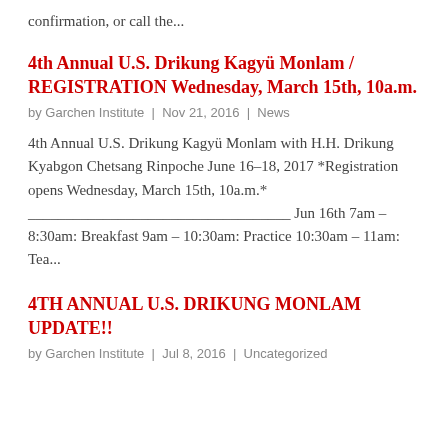confirmation, or call the...
4th Annual U.S. Drikung Kagyü Monlam / REGISTRATION Wednesday, March 15th, 10a.m.
by Garchen Institute | Nov 21, 2016 | News
4th Annual U.S. Drikung Kagyü Monlam with H.H. Drikung Kyabgon Chetsang Rinpoche June 16–18, 2017 *Registration opens Wednesday, March 15th, 10a.m.* ___________________________________ Jun 16th 7am – 8:30am: Breakfast 9am – 10:30am: Practice 10:30am – 11am: Tea...
4TH ANNUAL U.S. DRIKUNG MONLAM UPDATE!!
by Garchen Institute | Jul 8, 2016 | Uncategorized